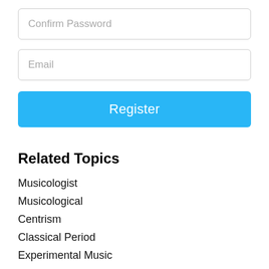[Figure (screenshot): Input field with placeholder text 'Confirm Password']
[Figure (screenshot): Input field with placeholder text 'Email']
[Figure (screenshot): Blue 'Register' button]
Related Topics
Musicologist
Musicological
Centrism
Classical Period
Experimental Music